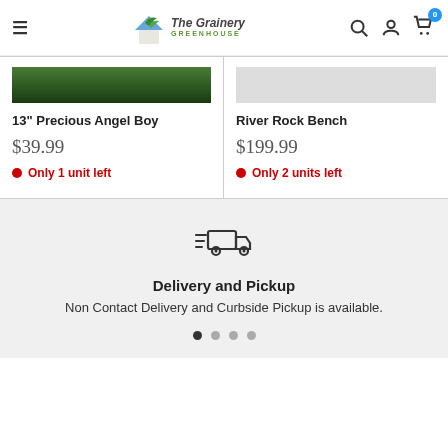The Grainery Greenhouse — navigation header with hamburger menu, logo, search, account, and cart icons
13" Precious Angel Boy
$39.99
Only 1 unit left
River Rock Bench
$199.99
Only 2 units left
[Figure (illustration): Fast delivery truck icon with motion lines]
Delivery and Pickup
Non Contact Delivery and Curbside Pickup is available.
Pagination dots: 4 dots, first active